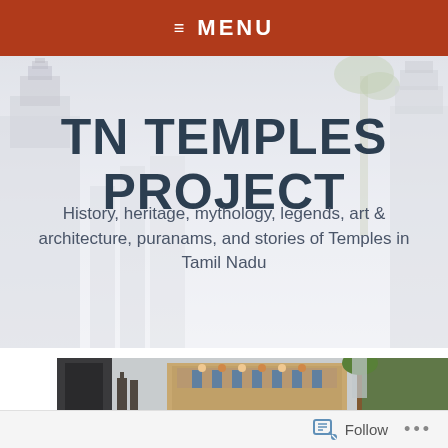≡ MENU
TN TEMPLES PROJECT
History, heritage, mythology, legends, art & architecture, puranams, and stories of Temples in Tamil Nadu
[Figure (photo): Colorful Hindu temple gopuram (tower) with sculptures visible against a light sky, with trees in the background and a dark building silhouette on the left]
Follow ...